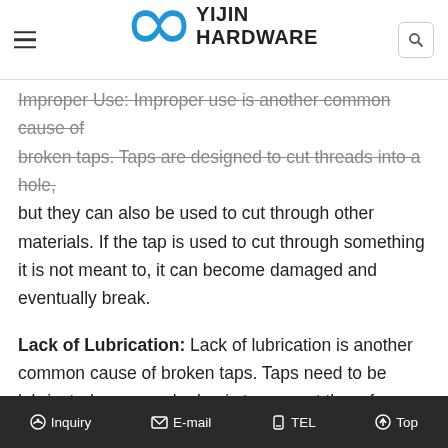Yijin Hardware — navigation header with logo
Improper Use: Improper use is another common cause of broken taps. Taps are designed to cut threads into a hole, but they can also be used to cut through other materials. If the tap is used to cut through something it is not meant to, it can become damaged and eventually break.
Lack of Lubrication: Lack of lubrication is another common cause of broken taps. Taps need to be lubricated on a regular basis to prevent them from becoming damaged. Without lubrication, the taps can become dry and brittle, which can eventually lead to them breaking.
Dirty Taps: Dirty taps are another common cause of broken taps. If the taps are not cleaned on a regular basis, they can become clogged with dirt and debris. This can eventually lead to the taps becoming damaged and breaking.
Inquiry  |  E-mail  |  TEL  |  Top